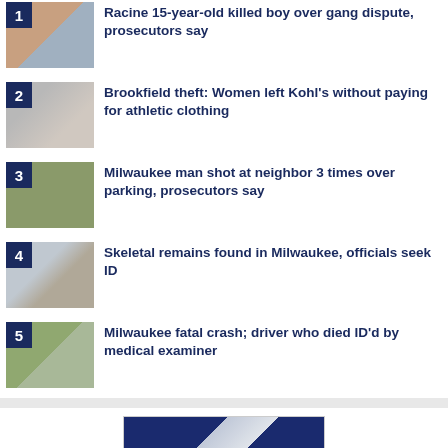1 – [headline truncated] kid killed boy over gang dispute, prosecutors say
2 – Brookfield theft: Women left Kohl's without paying for athletic clothing
3 – Milwaukee man shot at neighbor 3 times over parking, prosecutors say
4 – Skeletal remains found in Milwaukee, officials seek ID
5 – Milwaukee fatal crash; driver who died ID'd by medical examiner
[Figure (other): News channel banner/logo graphic with blue gradient and diagonal stripe]